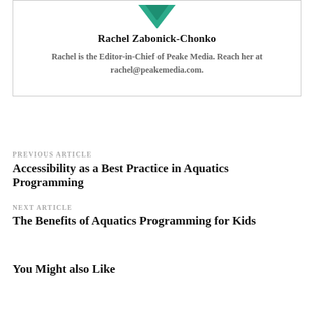[Figure (logo): Teal/green downward chevron or arrow logo at top of author box]
Rachel Zabonick-Chonko
Rachel is the Editor-in-Chief of Peake Media. Reach her at rachel@peakemedia.com.
PREVIOUS ARTICLE
Accessibility as a Best Practice in Aquatics Programming
NEXT ARTICLE
The Benefits of Aquatics Programming for Kids
You Might also Like